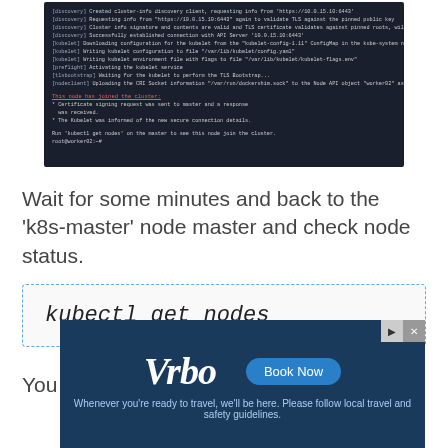[Figure (screenshot): Terminal output showing kubernetes node joining cluster, with colored text showing discovery, kubelet, preflight, tlsbootstrap, and nodeclient log lines, followed by success message and kubeadm get nodes command prompt]
Wait for some minutes and back to the 'k8s-master' node master and check node status.
kubectl get nodes
You will see those worker nodes 'worker01'
[Figure (screenshot): Vrbo advertisement banner with 'Book Now' button and tagline 'Whenever you're ready to travel, we'll be here. Please follow local travel and safety guidelines.']